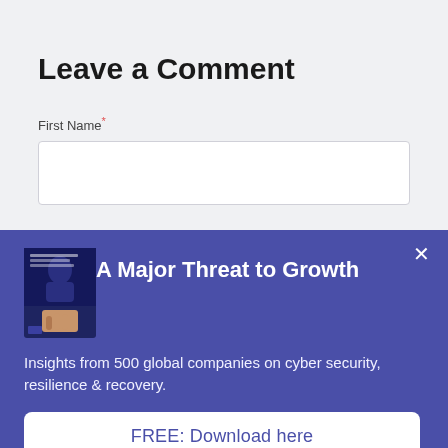Leave a Comment
First Name*
[Figure (screenshot): Empty text input field for First Name]
A Major Threat to Growth
[Figure (illustration): Hand holding a book/report titled relating to cyber threat]
Insights from 500 global companies on cyber security, resilience & recovery.
FREE: Download here